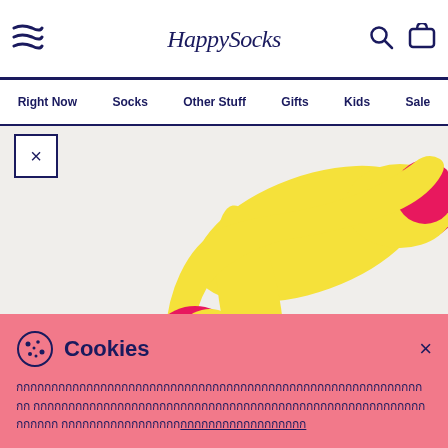Happy Socks — navigation header with logo, search, cart icons
Right Now | Socks | Other Stuff | Gifts | Kids | Sale
[Figure (photo): Yellow and pink Happy Socks displayed on a light grey background, showing a pair of colorful socks with heart motif and striped design]
Cookies — Cookie consent banner with cookie icon and close button. Cookie policy text in Thai script followed by an underlined link.